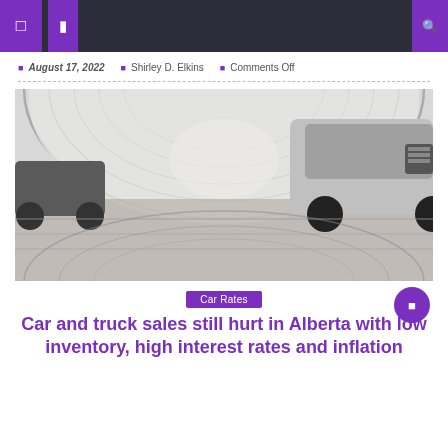Navigation header bar with icons
August 17, 2022 · Shirley D. Elkins · Comments Off
[Figure (photo): Car dealership interior with vehicles parked under an arched greenhouse-style tent structure, reflective floor]
Car Rates
Car and truck sales still hurt in Alberta with low inventory, high interest rates and inflation